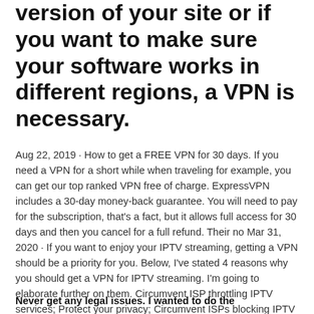version of your site or if you want to make sure your software works in different regions, a VPN is necessary.
Aug 22, 2019 · How to get a FREE VPN for 30 days. If you need a VPN for a short while when traveling for example, you can get our top ranked VPN free of charge. ExpressVPN includes a 30-day money-back guarantee. You will need to pay for the subscription, that's a fact, but it allows full access for 30 days and then you cancel for a full refund. Their no Mar 31, 2020 · If you want to enjoy your IPTV streaming, getting a VPN should be a priority for you. Below, I've stated 4 reasons why you should get a VPN for IPTV streaming. I'm going to elaborate further on them. Circumvent ISP throttling IPTV services; Protect your privacy; Circumvent ISPs blocking IPTV services
Never get any legal issues. I wanted to do the